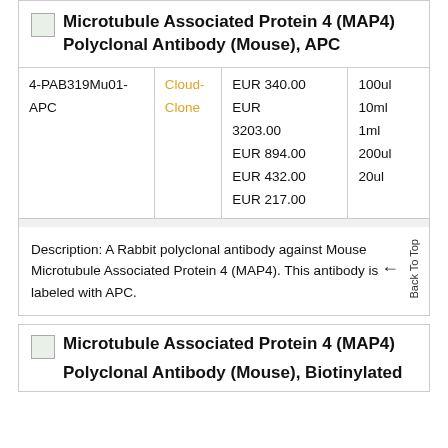Microtubule Associated Protein 4 (MAP4) Polyclonal Antibody (Mouse), APC
|  |  | Price | Size |
| --- | --- | --- | --- |
| 4-PAB319Mu01-APC | Cloud-Clone | EUR 340.00
EUR 3203.00
EUR 894.00
EUR 432.00
EUR 217.00 | 100ul
10ml
1ml
200ul
20ul |
Description: A Rabbit polyclonal antibody against Mouse Microtubule Associated Protein 4 (MAP4). This antibody is labeled with APC.
Microtubule Associated Protein 4 (MAP4) Polyclonal Antibody (Mouse), Biotinylated